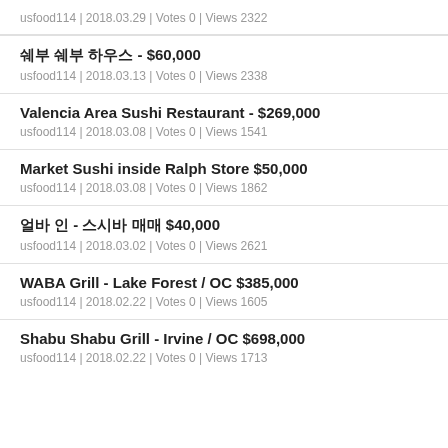usfood114 | 2018.03.29 | Votes 0 | Views 2322
쉐부 쉐부 하우스 - $60,000
usfood114 | 2018.03.13 | Votes 0 | Views 2338
Valencia Area Sushi Restaurant - $269,000
usfood114 | 2018.03.08 | Votes 0 | Views 1541
Market Sushi inside Ralph Store $50,000
usfood114 | 2018.03.08 | Votes 0 | Views 1862
얼바 인 - 스시바 매매 $40,000
usfood114 | 2018.03.02 | Votes 0 | Views 2621
WABA Grill - Lake Forest / OC $385,000
usfood114 | 2018.02.22 | Votes 0 | Views 1605
Shabu Shabu Grill - Irvine / OC $698,000
usfood114 | 2018.02.22 | Votes 0 | Views 1713